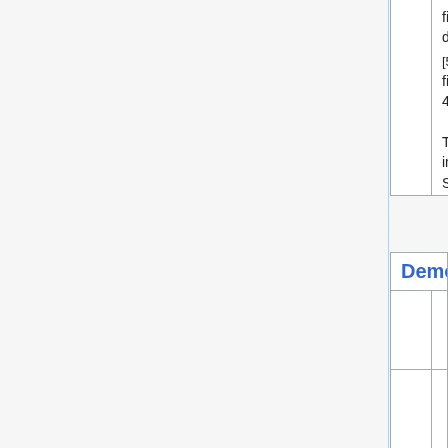|  |  | fire in its path dealing [5]700 cTSpD / fire damage f 4 turns. The damage increases wit Spellpower. |
|  | Game Version | - |
| --- | --- | --- |
|  | Category Type | Corruption |
|  | Category | Infernal comb... |
|  |  | Lvl |